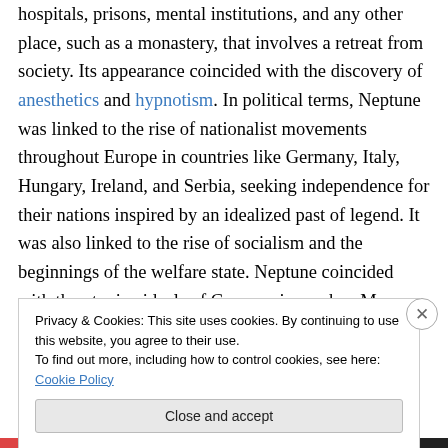hospitals, prisons, mental institutions, and any other place, such as a monastery, that involves a retreat from society. Its appearance coincided with the discovery of anesthetics and hypnotism. In political terms, Neptune was linked to the rise of nationalist movements throughout Europe in countries like Germany, Italy, Hungary, Ireland, and Serbia, seeking independence for their nations inspired by an idealized past of legend. It was also linked to the rise of socialism and the beginnings of the welfare state. Neptune coincided with the utopian ideals of Communism, when Marx and Engels first published 'The Communist
Privacy & Cookies: This site uses cookies. By continuing to use this website, you agree to their use.
To find out more, including how to control cookies, see here: Cookie Policy
Close and accept